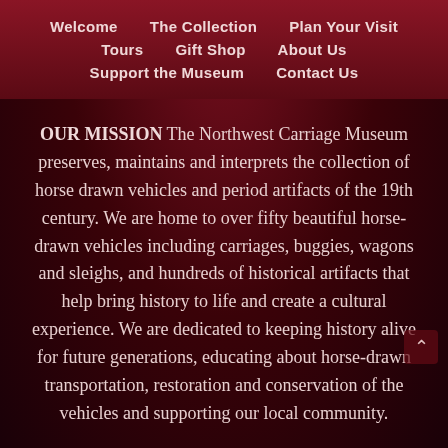Welcome  The Collection  Plan Your Visit  Tours  Gift Shop  About Us  Support the Museum  Contact Us
OUR MISSION The Northwest Carriage Museum preserves, maintains and interprets the collection of horse drawn vehicles and period artifacts of the 19th century. We are home to over fifty beautiful horse-drawn vehicles including carriages, buggies, wagons and sleighs, and hundreds of historical artifacts that help bring history to life and create a cultural experience. We are dedicated to keeping history alive for future generations, educating about horse-drawn transportation, restoration and conservation of the vehicles and supporting our local community.